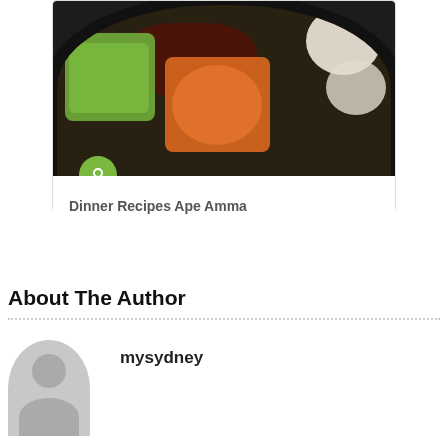[Figure (photo): A slow cooker pot filled with raw vegetables including celery, carrots, onions, and meat, viewed from above. A green circular pin badge icon is overlaid at the bottom-left of the image.]
Dinner Recipes Ape Amma
About The Author
[Figure (illustration): Generic grey user avatar silhouette (circular head and rounded shoulder shape)]
mysydney